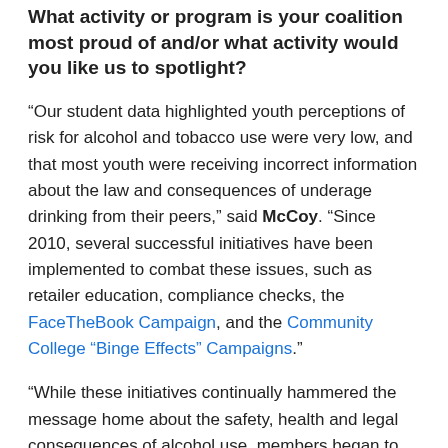What activity or program is your coalition most proud of and/or what activity would you like us to spotlight?
“Our student data highlighted youth perceptions of risk for alcohol and tobacco use were very low, and that most youth were receiving incorrect information about the law and consequences of underage drinking from their peers,” said McCoy. “Since 2010, several successful initiatives have been implemented to combat these issues, such as retailer education, compliance checks, the FaceTheBook Campaign, and the Community College "Binge Effects" Campaigns.”
“While these initiatives continually hammered the message home about the safety, health and legal consequences of alcohol use, members began to discuss a different approach that would align with the school’s multi-tiered system of support as well as reinforce positive behaviors. Muskegon ALI members asked to implement the Ride with Pride